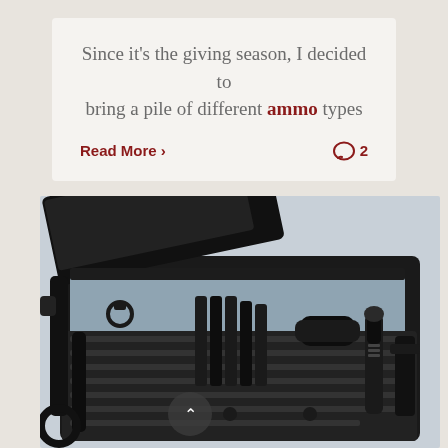Since it's the giving season, I decided to bring a pile of different ammo types
Read More › 2
[Figure (photo): Open black tactical/range bag with gray interior lining, filled with various gear items including tools, a flashlight, and other equipment arranged in MOLLE pockets and compartments. The lid is open revealing the interior.]